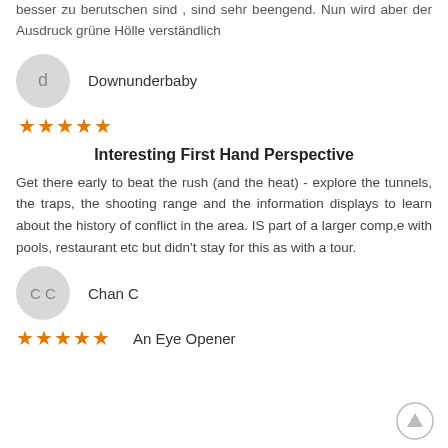Fahrtgänge die zum Teil persönlich zu gehen besser zu berutschen sind , sind sehr beengend. Nun wird aber der Ausdruck grüne Hölle verständlich
Downunderbaby
★★★★★
Interesting First Hand Perspective
Get there early to beat the rush (and the heat) - explore the tunnels, the traps, the shooting range and the information displays to learn about the history of conflict in the area. IS part of a larger comp,e with pools, restaurant etc but didn't stay for this as with a tour.
Chan C
★★★★★  An Eye Opener